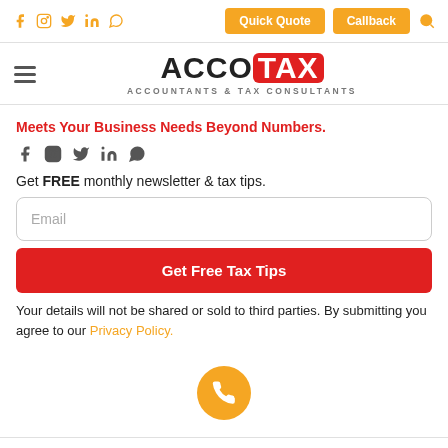Quick Quote | Callback
[Figure (logo): AccoTax logo with ACCO in black and TAX in white on red background, subtitle: ACCOUNTANTS & TAX CONSULTANTS]
Meets Your Business Needs Beyond Numbers.
Get FREE monthly newsletter & tax tips.
Email
Get Free Tax Tips
Your details will not be shared or sold to third parties. By submitting you agree to our Privacy Policy.